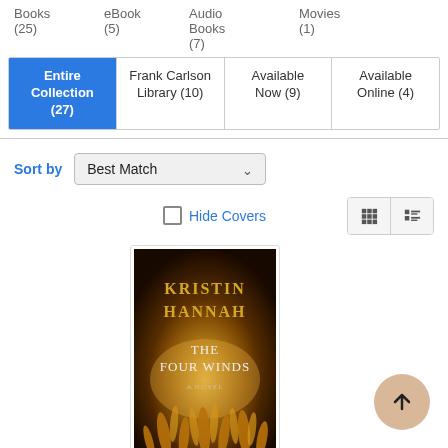Books (25)
eBook (5)
Audio Books (7)
Movies (1)
Entire Collection (27)
Frank Carlson Library (10)
Available Now (9)
Available Online (4)
Sort by  Best Match
Hide Covers
[Figure (illustration): Book cover: The Four Winds by Kristin Hannah — dark background with golden wheat stalks and author name in gold/white text]